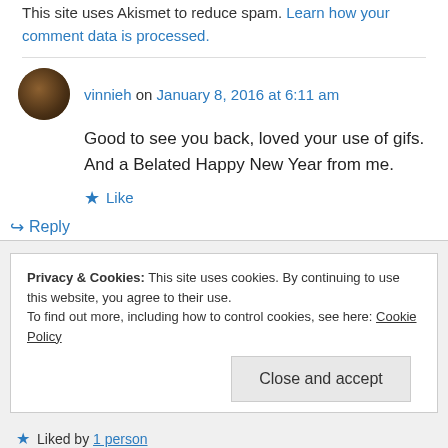This site uses Akismet to reduce spam. Learn how your comment data is processed.
vinnieh on January 8, 2016 at 6:11 am
Good to see you back, loved your use of gifs. And a Belated Happy New Year from me.
Like
Reply
Privacy & Cookies: This site uses cookies. By continuing to use this website, you agree to their use. To find out more, including how to control cookies, see here: Cookie Policy
Close and accept
Liked by 1 person